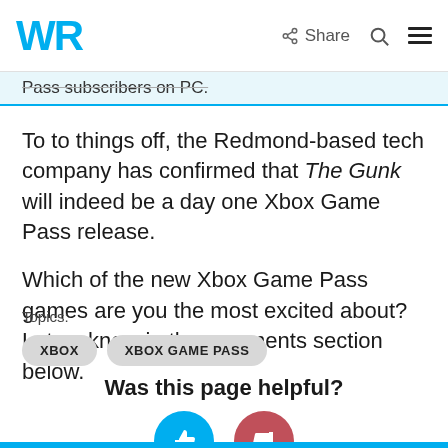WR | Share [search] [menu]
Pass subscribers on PC.
To to things off, the Redmond-based tech company has confirmed that The Gunk will indeed be a day one Xbox Game Pass release.
Which of the new Xbox Game Pass games are you the most excited about? Let us know in the comments section below.
Topics:
XBOX
XBOX GAME PASS
Was this page helpful?